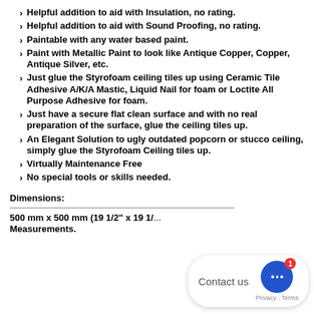Helpful addition to aid with Insulation, no rating.
Helpful addition to aid with Sound Proofing, no rating.
Paintable with any water based paint.
Paint with Metallic Paint to look like Antique Copper, Copper, Antique Silver, etc.
Just glue the Styrofoam ceiling tiles up using Ceramic Tile Adhesive A/K/A Mastic, Liquid Nail for foam or Loctite All Purpose Adhesive for foam.
Just have a secure flat clean surface and with no real preparation of the surface, glue the ceiling tiles up.
An Elegant Solution to ugly outdated popcorn or stucco ceiling, simply glue the Styrofoam Ceiling tiles up.
Virtually Maintenance Free
No special tools or skills needed.
Dimensions:
500 mm x 500 mm (19 1/2" x 19 1/... Measurements.